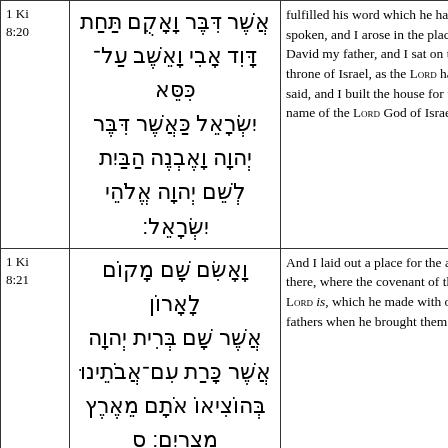| Reference | Hebrew Text | English Translation |
| --- | --- | --- |
| 1 Ki 8:20 | [Hebrew text of 1 Kings 8:20] | fulfilled his word which he had spoken, and I arose in the place of David my father, and I sat on the throne of Israel, as the LORD had said, and I built the house for the name of the LORD God of Israel. |
| 1 Ki 8:21 | [Hebrew text of 1 Kings 8:21] | And I laid out a place for the ark there, where the covenant of the LORD is, which he made with our fathers when he brought them out of Egypt. |